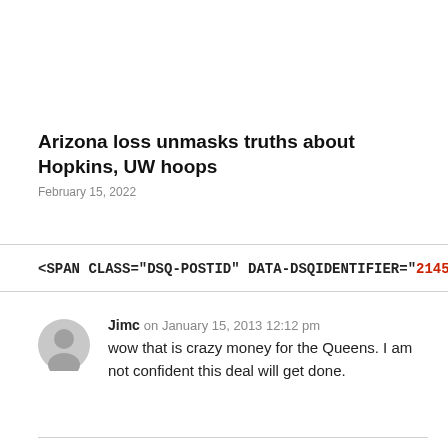Arizona loss unmasks truths about Hopkins, UW hoops
February 15, 2022
<SPAN CLASS="DSQ-POSTID" DATA-DSQIDENTIFIER="214509
Jimc on January 15, 2013 12:12 pm
wow that is crazy money for the Queens. I am not confident this deal will get done.